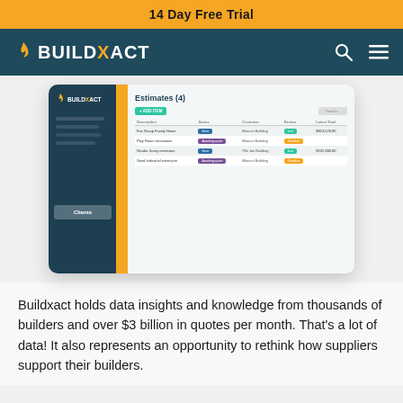14 Day Free Trial
[Figure (screenshot): Buildxact software interface showing Estimates list with 4 items, sidebar navigation with Clients selected, and a data table with columns for Description, Status, Customer, Review, and Latest Total]
Buildxact holds data insights and knowledge from thousands of builders and over $3 billion in quotes per month. That's a lot of data! It also represents an opportunity to rethink how suppliers support their builders.